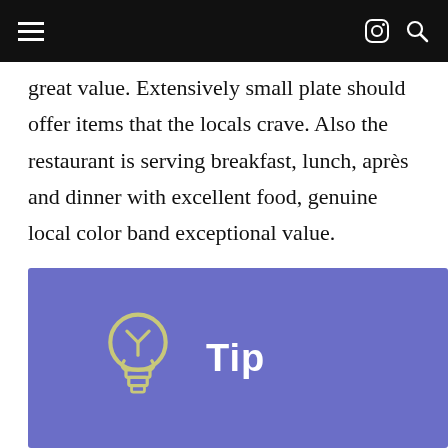[navigation bar with hamburger menu, instagram icon, search icon]
great value. Extensively small plate should offer items that the locals crave. Also the restaurant is serving breakfast, lunch, après and dinner with excellent food, genuine local color band exceptional value.
[Figure (illustration): Blue/purple background image with a light bulb icon and bold white text reading 'Tip']